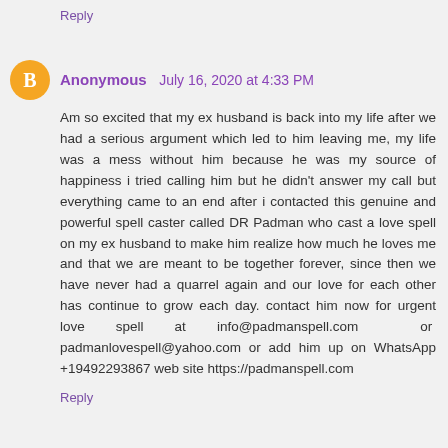Reply
Anonymous   July 16, 2020 at 4:33 PM
Am so excited that my ex husband is back into my life after we had a serious argument which led to him leaving me, my life was a mess without him because he was my source of happiness i tried calling him but he didn't answer my call but everything came to an end after i contacted this genuine and powerful spell caster called DR Padman who cast a love spell on my ex husband to make him realize how much he loves me and that we are meant to be together forever, since then we have never had a quarrel again and our love for each other has continue to grow each day. contact him now for urgent love spell at info@padmanspell.com  or  padmanlovespell@yahoo.com or add him up on WhatsApp +19492293867 web site https://padmanspell.com
Reply